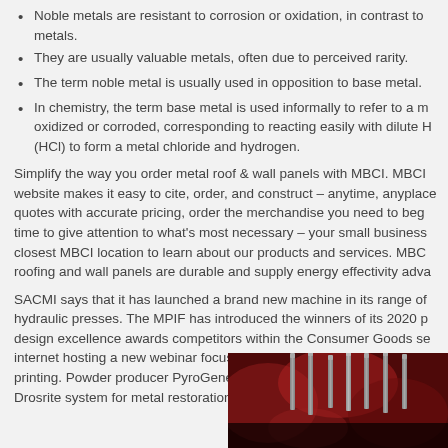Noble metals are resistant to corrosion or oxidation, in contrast to metals.
They are usually valuable metals, often due to perceived rarity.
The term noble metal is usually used in opposition to base metal.
In chemistry, the term base metal is used informally to refer to a m oxidized or corroded, corresponding to reacting easily with dilute H (HCl) to form a metal chloride and hydrogen.
Simplify the way you order metal roof & wall panels with MBCI. MBCI website makes it easy to cite, order, and construct – anytime, anyplace quotes with accurate pricing, order the merchandise you need to beg time to give attention to what's most necessary – your small business closest MBCI location to learn about our products and services. MBC roofing and wall panels are durable and supply energy effectivity adva
SACMI says that it has launched a brand new machine in its range of hydraulic presses. The MPIF has introduced the winners of its 2020 p design excellence awards competitors within the Consumer Goods se internet hosting a new webinar focusing on the effect of Covid-19 on t printing. Powder producer PyroGenesis Canada has developed a sm Drosrite system for metal restoration, designed for small services.
[Figure (photo): Photo of metal objects (possibly syringes or metal tubes) with red background, arranged vertically, dark background]